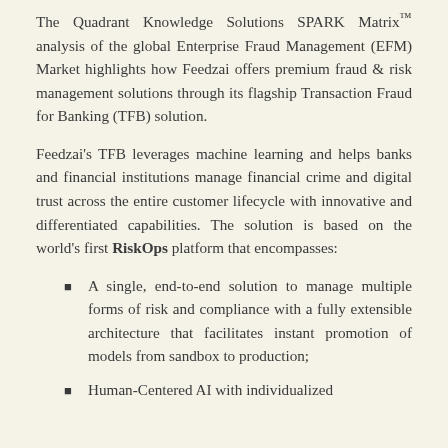The Quadrant Knowledge Solutions SPARK Matrix™ analysis of the global Enterprise Fraud Management (EFM) Market highlights how Feedzai offers premium fraud & risk management solutions through its flagship Transaction Fraud for Banking (TFB) solution.
Feedzai's TFB leverages machine learning and helps banks and financial institutions manage financial crime and digital trust across the entire customer lifecycle with innovative and differentiated capabilities. The solution is based on the world's first RiskOps platform that encompasses:
A single, end-to-end solution to manage multiple forms of risk and compliance with a fully extensible architecture that facilitates instant promotion of models from sandbox to production;
Human-Centered AI with individualized